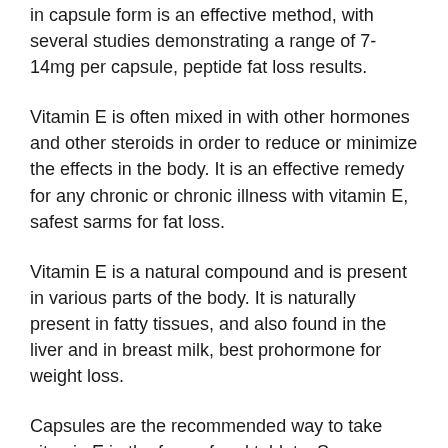in capsule form is an effective method, with several studies demonstrating a range of 7-14mg per capsule, peptide fat loss results.
Vitamin E is often mixed in with other hormones and other steroids in order to reduce or minimize the effects in the body. It is an effective remedy for any chronic or chronic illness with vitamin E, safest sarms for fat loss.
Vitamin E is a natural compound and is present in various parts of the body. It is naturally present in fatty tissues, and also found in the liver and in breast milk, best prohormone for weight loss.
Capsules are the recommended way to take vitamin E in the form of oral tablets. Some people with other conditions such as cancer may not require oral doses,